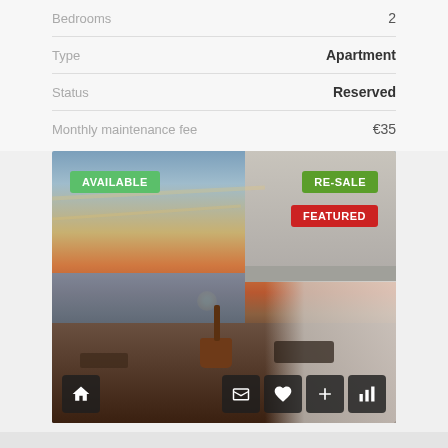| Property | Value |
| --- | --- |
| Bedrooms | 2 |
| Type | Apartment |
| Status | Reserved |
| Monthly maintenance fee | €35 |
[Figure (photo): Rooftop terrace apartment at sunset with ocean view, palm tree in pot, outdoor furniture. Overlaid badges: AVAILABLE (green, top-left), RE-SALE (dark green, top-right), FEATURED (red, below RE-SALE). Bottom icon bar with house, gallery, heart, plus, and bar-chart icons.]